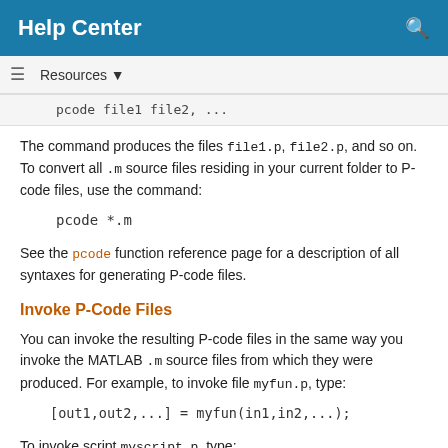Help Center
Resources ▼
pcode file1 file2, ...
The command produces the files file1.p, file2.p, and so on. To convert all .m source files residing in your current folder to P-code files, use the command:
pcode *.m
See the pcode function reference page for a description of all syntaxes for generating P-code files.
Invoke P-Code Files
You can invoke the resulting P-code files in the same way you invoke the MATLAB .m source files from which they were produced. For example, to invoke file myfun.p, type:
[out1,out2,...] = myfun(in1,in2,...);
To invoke script myscript.p, type: